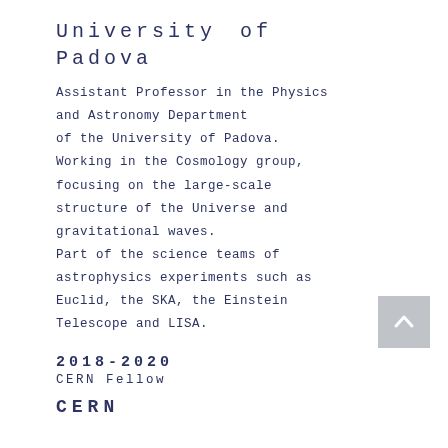University of Padova
Assistant Professor in the Physics and Astronomy Department of the University of Padova. Working in the Cosmology group, focusing on the large-scale structure of the Universe and gravitational waves. Part of the science teams of astrophysics experiments such as Euclid, the SKA, the Einstein Telescope and LISA.
2018-2020
CERN Fellow
CERN